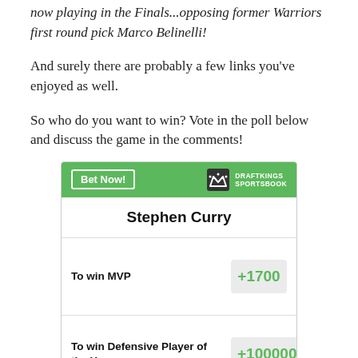now playing in the Finals...opposing former Warriors first round pick Marco Belinelli!
And surely there are probably a few links you've enjoyed as well.
So who do you want to win? Vote in the poll below and discuss the game in the comments!
[Figure (other): DraftKings Sportsbook widget showing Stephen Curry betting odds. Bet Now button on green header. To win MVP: +1700. To win Defensive Player of the Year: +100000.]